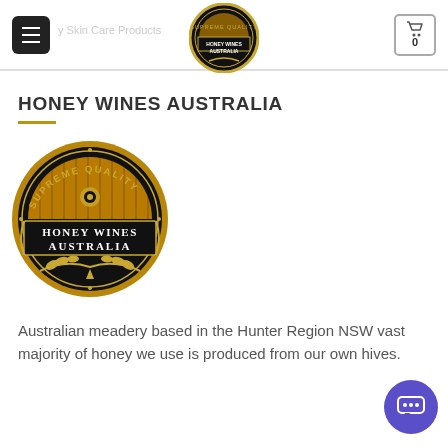Honey Wines Australia — Supreme Quality Honey Wines Australia (logo)
HONEY WINES AUSTRALIA
[Figure (logo): Circular badge logo: black background with gold border, text 'SUPREME QUALITY' at top arc, honeycomb pattern semi-circle, 'HONEY WINES AUSTRALIA' on black banner, decorative wheat/laurel wreath at bottom. Gold and black colour scheme.]
Australian meadery based in the Hunter Region NSW vast majority of honey we use is produced from our own hives.